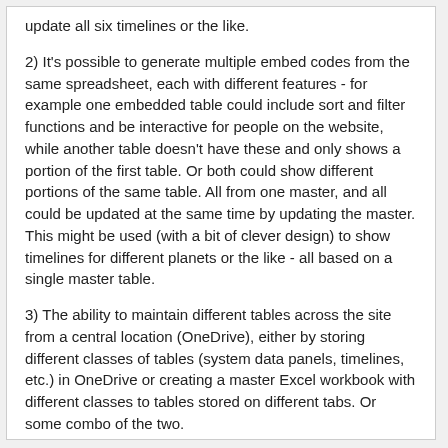update all six timelines or the like.
2) It's possible to generate multiple embed codes from the same spreadsheet, each with different features - for example one embedded table could include sort and filter functions and be interactive for people on the website, while another table doesn't have these and only shows a portion of the first table. Or both could show different portions of the same table. All from one master, and all could be updated at the same time by updating the master. This might be used (with a bit of clever design) to show timelines for different planets or the like - all based on a single master table.
3) The ability to maintain different tables across the site from a central location (OneDrive), either by storing different classes of tables (system data panels, timelines, etc.) in OneDrive or creating a master Excel workbook with different classes to tables stored on different tabs. Or some combo of the two.
Now, all that said, there are a couple of potential issues: